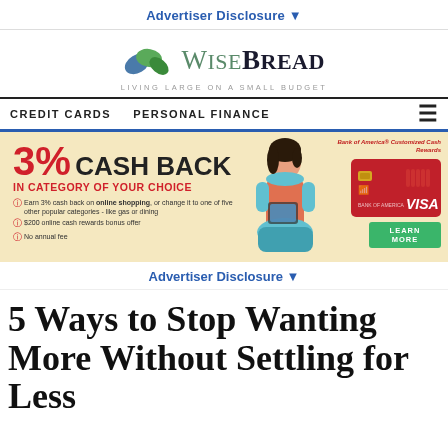Advertiser Disclosure ▼
[Figure (logo): WiseBread logo with leaf icon and tagline LIVING LARGE ON A SMALL BUDGET]
CREDIT CARDS  PERSONAL FINANCE  ≡
[Figure (infographic): Bank of America Customized Cash Rewards advertisement: 3% CASH BACK IN CATEGORY OF YOUR CHOICE. Bullets: Earn 3% cash back on online shopping, or change it to one of five other popular categories - like gas or dining; $200 online cash rewards bonus offer; No annual fee. Shows woman on couch and red Visa credit card with LEARN MORE button.]
Advertiser Disclosure ▼
5 Ways to Stop Wanting More Without Settling for Less